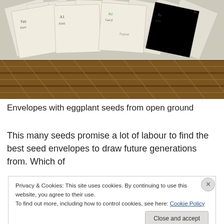[Figure (photo): A wicker basket filled with white paper envelopes that have handwritten labels on them, photographed from above. The envelopes contain eggplant seeds.]
Envelopes with eggplant seeds from open ground
This many seeds promise a lot of labour to find the best seed envelopes to draw future generations from. Which of
Privacy & Cookies: This site uses cookies. By continuing to use this website, you agree to their use.
To find out more, including how to control cookies, see here: Cookie Policy
Close and accept